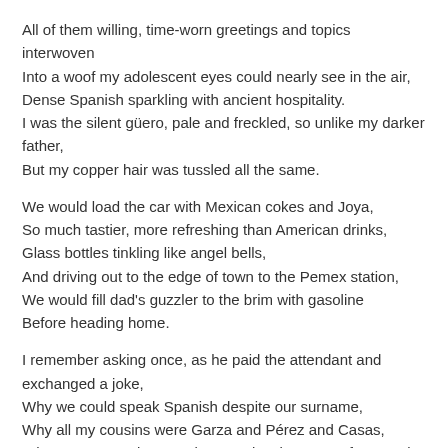All of them willing, time-worn greetings and topics interwoven
Into a woof my adolescent eyes could nearly see in the air,
Dense Spanish sparkling with ancient hospitality.
I was the silent güero, pale and freckled, so unlike my darker father,
But my copper hair was tussled all the same.
We would load the car with Mexican cokes and Joya,
So much tastier, more refreshing than American drinks,
Glass bottles tinkling like angel bells,
And driving out to the edge of town to the Pemex station,
We would fill dad's guzzler to the brim with gasoline
Before heading home.
I remember asking once, as he paid the attendant and exchanged a joke,
Why we could speak Spanish despite our surname,
Why all my cousins were Garza and Pérez and Casas,
Why I was cursed to stand out not just because of my Anglo mother
But also because of his imprecise heritage,
A man that straddled ethnicities without a word of explanation.